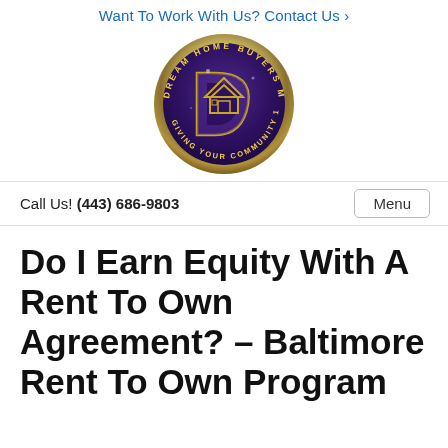Want To Work With Us? Contact Us ›
[Figure (logo): Dream Home Buyers MD LLC circular logo with purple background and stylized D letter with house icon, gold/rainbow holographic border, text around edge reading DREAM HOME BUYERS MD LLC]
Call Us! (443) 686-9803
Do I Earn Equity With A Rent To Own Agreement? – Baltimore Rent To Own Program